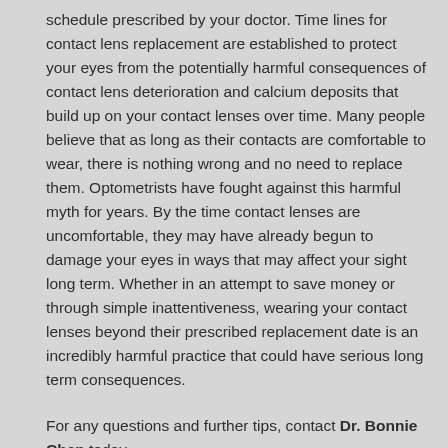schedule prescribed by your doctor. Time lines for contact lens replacement are established to protect your eyes from the potentially harmful consequences of contact lens deterioration and calcium deposits that build up on your contact lenses over time. Many people believe that as long as their contacts are comfortable to wear, there is nothing wrong and no need to replace them. Optometrists have fought against this harmful myth for years. By the time contact lenses are uncomfortable, they may have already begun to damage your eyes in ways that may affect your sight long term. Whether in an attempt to save money or through simple inattentiveness, wearing your contact lenses beyond their prescribed replacement date is an incredibly harmful practice that could have serious long term consequences.
For any questions and further tips, contact Dr. Bonnie Chen today.